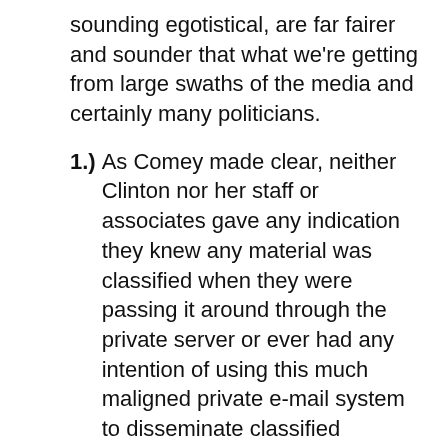sounding egotistical, are far fairer and sounder that what we're getting from large swaths of the media and certainly many politicians.
1.)  As Comey made clear, neither Clinton nor her staff or associates gave any indication they knew any material was classified when they were passing it around through the private server or ever had any intention of using this much maligned private e-mail system to disseminate classified information, and the FBI has no evidence to point towards a coverup or Clinton or her people lying to FBI investigators.